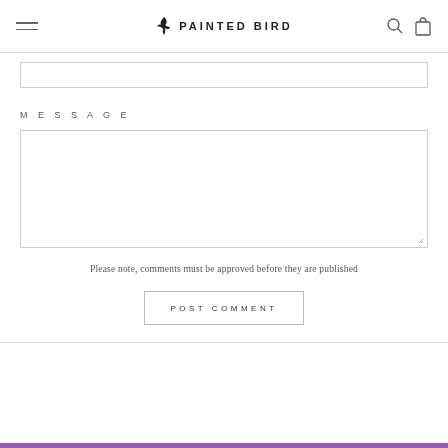PAINTED BIRD
MESSAGE
Please note, comments must be approved before they are published
POST COMMENT